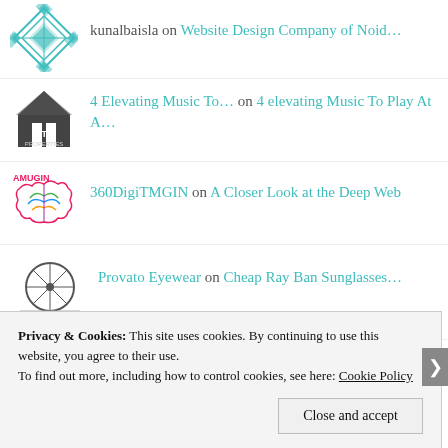kunalbaisla on Website Design Company of Noid...
4 Elevating Music To... on 4 elevating Music To Play At A...
360DigiTMGIN on A Closer Look at the Deep Web
Provato Eyewear on Cheap Ray Ban Sunglasses...
Varun Misra on Mystery Facts About Recover St...
Privacy & Cookies: This site uses cookies. By continuing to use this website, you agree to their use. To find out more, including how to control cookies, see here: Cookie Policy
Close and accept